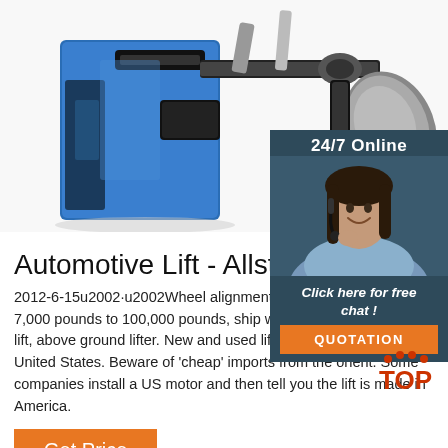[Figure (photo): Close-up photo of a blue automotive wheel alignment lift machine with black metallic components]
[Figure (photo): 24/7 Online customer service widget with a female agent wearing a headset, a 'Click here for free chat!' link, and an orange QUOTATION button]
Automotive Lift - Allstates.com
2012-6-15u2002·u2002Wheel alignment lift, aligner lift. From 7,000 pounds to 100,000 pounds, ship world wide. Car lift, truck lift, above ground lifter. New and used lifts in stock. Made in the United States. Beware of 'cheap' imports from the orient. Some companies install a US motor and then tell you the lift is made in America.
[Figure (logo): TOP badge with paw prints in red/orange]
Get Price